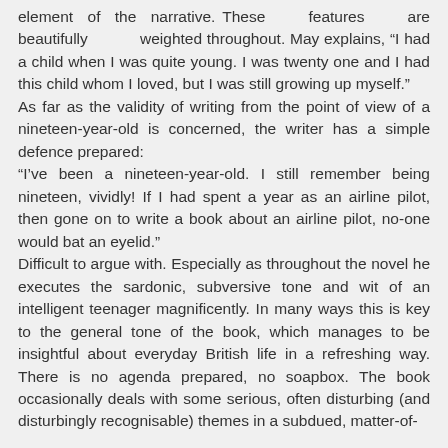element of the narrative. These features are beautifully weighted throughout. May explains, “I had a child when I was quite young. I was twenty one and I had this child whom I loved, but I was still growing up myself.” As far as the validity of writing from the point of view of a nineteen-year-old is concerned, the writer has a simple defence prepared: “I’ve been a nineteen-year-old. I still remember being nineteen, vividly! If I had spent a year as an airline pilot, then gone on to write a book about an airline pilot, no-one would bat an eyelid.” Difficult to argue with. Especially as throughout the novel he executes the sardonic, subversive tone and wit of an intelligent teenager magnificently. In many ways this is key to the general tone of the book, which manages to be insightful about everyday British life in a refreshing way. There is no agenda prepared, no soapbox. The book occasionally deals with some serious, often disturbing (and disturbingly recognisable) themes in a subdued, matter-of-